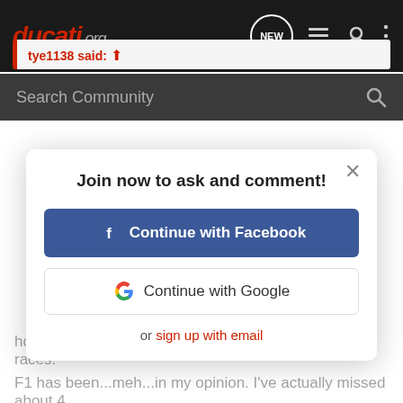ducati.org
Search Community
view for multiple reasons!
tye1138 said: ↑
[Figure (screenshot): Modal dialog with title 'Join now to ask and comment!' with options to Continue with Facebook, Continue with Google, or sign up with email, with a close X button]
house without having to worry about missing out on races!
F1 has been...meh...in my opinion. I've actually missed about 4